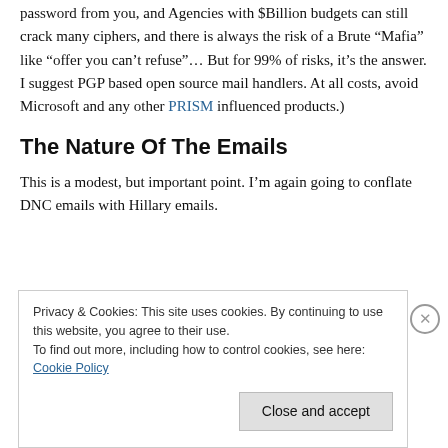password from you, and Agencies with $Billion budgets can still crack many ciphers, and there is always the risk of a Brute “Mafia” like “offer you can’t refuse”… But for 99% of risks, it’s the answer. I suggest PGP based open source mail handlers. At all costs, avoid Microsoft and any other PRISM influenced products.)
The Nature Of The Emails
This is a modest, but important point. I’m again going to conflate DNC emails with Hillary emails.
Privacy & Cookies: This site uses cookies. By continuing to use this website, you agree to their use.
To find out more, including how to control cookies, see here: Cookie Policy